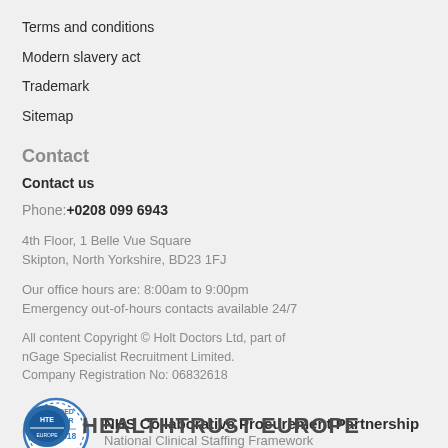Terms and conditions
Modern slavery act
Trademark
Sitemap
Contact
Contact us
Phone: +0208 099 6943
4th Floor, 1 Belle Vue Square
Skipton, North Yorkshire, BD23 1FJ
Our office hours are: 8:00am to 9:00pm
Emergency out-of-hours contacts available 24/7
All content Copyright © Holt Doctors Ltd, part of nGage Specialist Recruitment Limited. Company Registration No: 06832618
[Figure (logo): Awarded Supplier 2016-2018 circular badge with NHS Collaborative Procurement Partnership - National Clinical Staffing Framework text]
[Figure (logo): HealthTrust Europe logo at bottom]